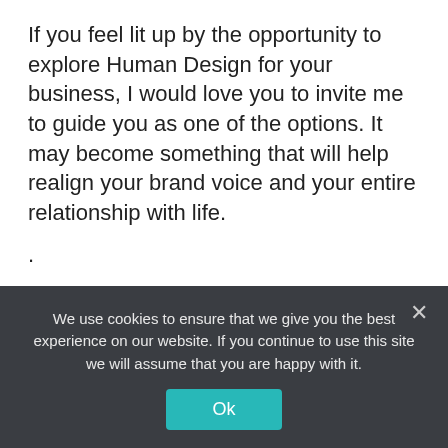If you feel lit up by the opportunity to explore Human Design for your business, I would love you to invite me to guide you as one of the options. It may become something that will help realign your brand voice and your entire relationship with life.
.
Business (category link)
Authenticity, brand voice, Entrepreneurs, Marketing (tag links)
We use cookies to ensure that we give you the best experience on our website. If you continue to use this site we will assume that you are happy with it. Ok